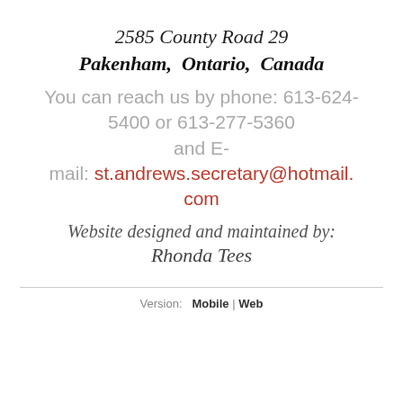2585 County Road 29
Pakenham,  Ontario,  Canada
You can reach us by phone: 613-624-5400 or 613-277-5360 and E-mail: st.andrews.secretary@hotmail.com
Website designed and maintained by:
Rhonda Tees
Version:  Mobile | Web